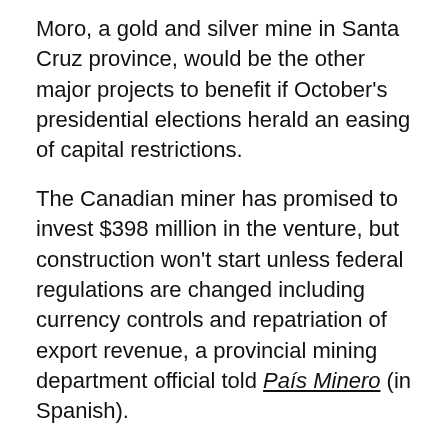Moro, a gold and silver mine in Santa Cruz province, would be the other major projects to benefit if October's presidential elections herald an easing of capital restrictions.
The Canadian miner has promised to invest $398 million in the venture, but construction won't start unless federal regulations are changed including currency controls and repatriation of export revenue, a provincial mining department official told País Minero (in Spanish).
Then, there's Goldcorp's (TSX:G) (NYSE:GG) Cerro Negro, which began commercial output in January and is targeting